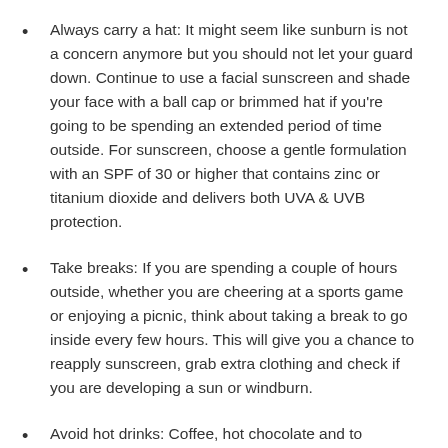Always carry a hat: It might seem like sunburn is not a concern anymore but you should not let your guard down. Continue to use a facial sunscreen and shade your face with a ball cap or brimmed hat if you're going to be spending an extended period of time outside. For sunscreen, choose a gentle formulation with an SPF of 30 or higher that contains zinc or titanium dioxide and delivers both UVA & UVB protection.
Take breaks: If you are spending a couple of hours outside, whether you are cheering at a sports game or enjoying a picnic, think about taking a break to go inside every few hours. This will give you a chance to reapply sunscreen, grab extra clothing and check if you are developing a sun or windburn.
Avoid hot drinks: Coffee, hot chocolate and tea...